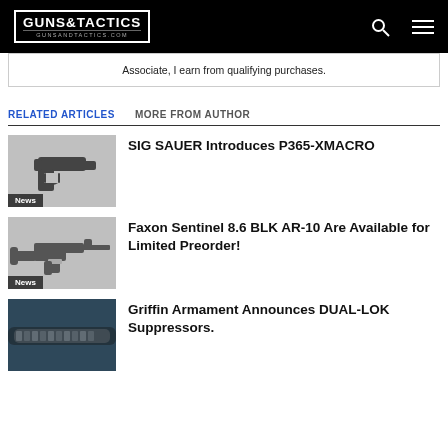GUNS&TACTICS GUNSANDTACTICS.COM
Associate, I earn from qualifying purchases.
RELATED ARTICLES   MORE FROM AUTHOR
[Figure (photo): Handgun silhouette on grey background with News badge]
SIG SAUER Introduces P365-XMACRO
[Figure (photo): Rifle/AR with suppressor on grey background with News badge]
Faxon Sentinel 8.6 BLK AR-10 Are Available for Limited Preorder!
[Figure (photo): Suppressor close-up photo with blue tones]
Griffin Armament Announces DUAL-LOK Suppressors.